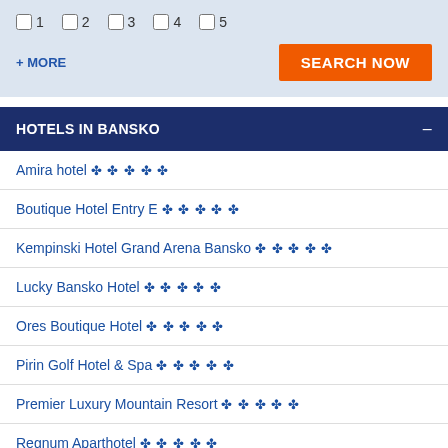☐1  ☐2  ☐3  ☐4  ☐5
+ MORE
SEARCH NOW
HOTELS IN BANSKO
Amira hotel ✦✦✦✦✦
Boutique Hotel Entry E ✦✦✦✦✦
Kempinski Hotel Grand Arena Bansko ✦✦✦✦✦
Lucky Bansko Hotel ✦✦✦✦✦
Ores Boutique Hotel ✦✦✦✦✦
Pirin Golf Hotel & Spa ✦✦✦✦✦
Premier Luxury Mountain Resort ✦✦✦✦✦
Regnum Aparthotel ✦✦✦✦✦